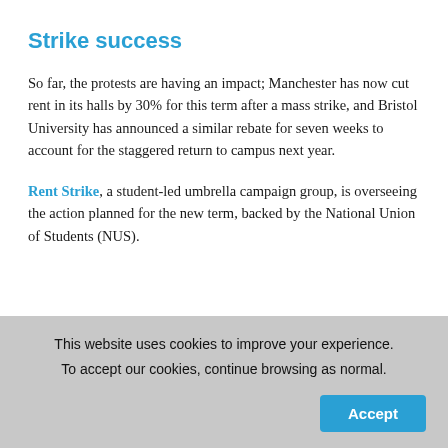Strike success
So far, the protests are having an impact; Manchester has now cut rent in its halls by 30% for this term after a mass strike, and Bristol University has announced a similar rebate for seven weeks to account for the staggered return to campus next year.
Rent Strike, a student-led umbrella campaign group, is overseeing the action planned for the new term, backed by the National Union of Students (NUS).
This website uses cookies to improve your experience. To accept our cookies, continue browsing as normal.